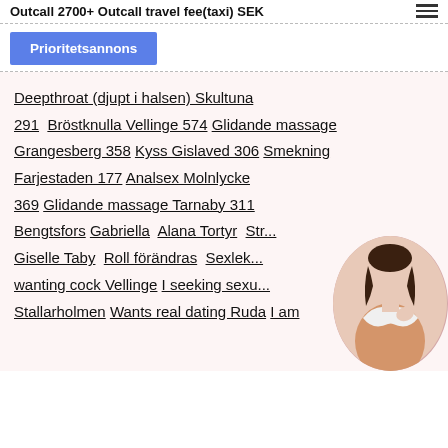Outcall 2700+ Outcall travel fee(taxi) SEK
[Figure (other): Hamburger menu icon (three horizontal lines)]
Prioritetsannons
Deepthroat (djupt i halsen) Skultuna 291  Bröstknulla Vellinge 574  Glidande massage Grangesberg 358  Kyss Gislaved 306  Smekning Farjestaden 177  Analsex Molnlycke 369  Glidande massage Tarnaby 311 Bengtsfors  Gabriella  Alana Tortyr  Str... Giselle Taby  Roll förändras  Sexlek... wanting cock Vellinge  I seeking sexu... Stallarholmen  Wants real dating Ruda  I am
[Figure (photo): Circular cropped photo of a woman in a white bikini top]